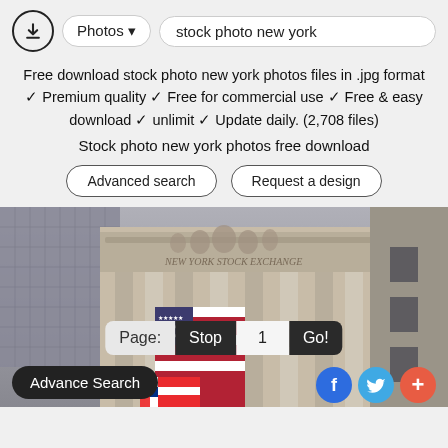[Figure (screenshot): Website header with download icon, Photos dropdown button, and search box showing 'stock photo new york']
Free download stock photo new york photos files in .jpg format ✓ Premium quality ✓ Free for commercial use ✓ Free & easy download ✓ unlimit ✓ Update daily. (2,708 files)
Stock photo new york photos free download
Advanced search
Request a design
[Figure (photo): Photo of New York Stock Exchange building facade with American flags and page navigation overlay showing 'Page: Stop 1 Go!' and social media buttons]
Advance Search